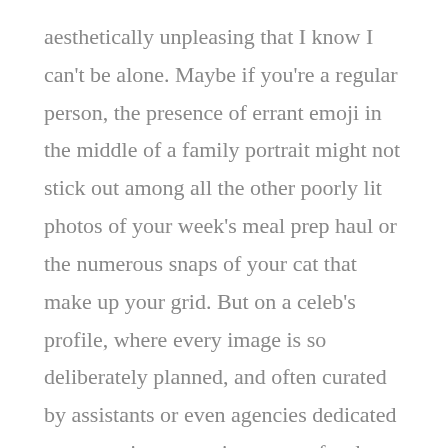aesthetically unpleasing that I know I can't be alone. Maybe if you're a regular person, the presence of errant emoji in the middle of a family portrait might not stick out among all the other poorly lit photos of your week's meal prep haul or the numerous snaps of your cat that make up your grid. But on a celeb's profile, where every image is so deliberately planned, and often curated by assistants or even agencies dedicated to conveying a certain persona for the celebrity via photos, Reels, and memes (yes, we are talking about Reese Witherspoon and Mindy Kaling), well, those emojis hit differently. The posts are well-planned and the grids are